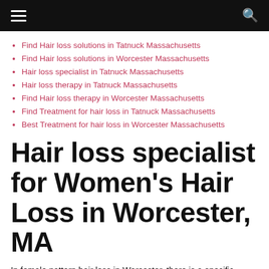Navigation bar with hamburger menu and search icon
Find Hair loss solutions in Tatnuck Massachusetts
Find Hair loss solutions in Worcester Massachusetts
Hair loss specialist in Tatnuck Massachusetts
Hair loss therapy in Tatnuck Massachusetts
Find Hair loss therapy in Worcester Massachusetts
Find Treatment for hair loss in Tatnuck Massachusetts
Best Treatment for hair loss in Worcester Massachusetts
Hair loss specialist for Women's Hair Loss in Worcester, MA
In female pattern hair loss in Worcester, there is a specific thinning of hair upon the scalp due to increased shedding or an overall tapering off in the volume of hair produced. Female pattern hair loss is a bit stand-in from male pattern baldness